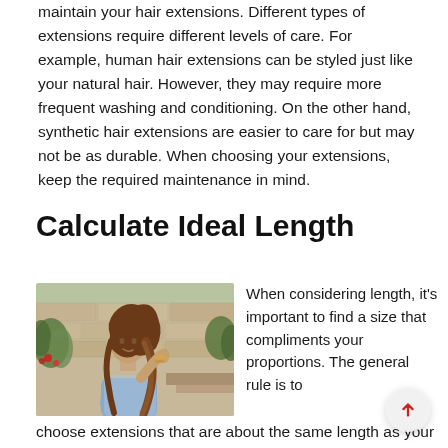maintain your hair extensions. Different types of extensions require different levels of care. For example, human hair extensions can be styled just like your natural hair. However, they may require more frequent washing and conditioning. On the other hand, synthetic hair extensions are easier to care for but may not be as durable. When choosing your extensions, keep the required maintenance in mind.
Calculate Ideal Length
[Figure (photo): A woman with long flowing hair wearing a light blue top, standing outdoors near a stone wall with green plants and red flowers in the background.]
When considering length, it's important to find a size that compliments your proportions. The general rule is to choose extensions that are about the same length as your